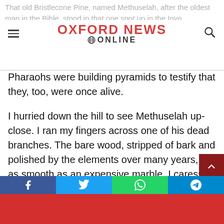That old Bristlecone Pine, named Methuselah, after the oldest man in the Bible, stood in that one spot up in the Inyo National Forest for over 4,770 years. It stood high when
OXFORD NEWS ONLINE
Pharaohs were building pyramids to testify that they, too, were once alive.
I hurried down the hill to see Methuselah up-close. I ran my fingers across one of his dead branches. The bare wood, stripped of bark and polished by the elements over many years, felt as smooth as an expensive marble. I caressed the bark that kept him alive, and stroked the soft pines on his branches. I was profoundly moved.
I had read all about the bristlecone pine. Prior to the trip into the White Mountains of California, I drove my wife crazy about the old pine that doesn't know how to die. I prattled on abou
Facebook | Twitter | WhatsApp | Telegram